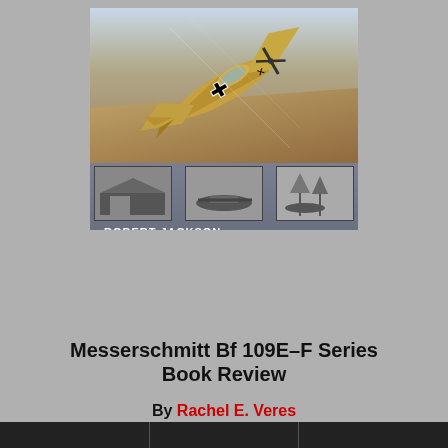[Figure (illustration): Book cover of 'Messerschmitt Bf 109E-F Series' by Robert Jackson. The cover shows a color illustration/photo of a WWII German Bf 109 fighter aircraft in desert camouflage with Luftwaffe markings (black cross and swastika), flying at an angle over desert terrain. Below the main image are three smaller black-and-white historical photographs of the aircraft on the ground. The author name 'ROBERT JACKSON' appears in white text at the bottom of the cover. The cover background at the bottom portion is a medium gray.]
Messerschmitt Bf 109E–F Series Book Review
By Rachel E. Veres